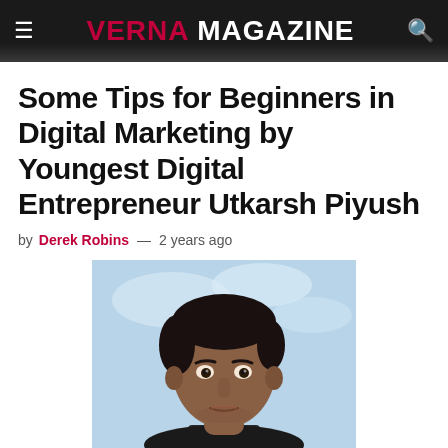VERNA MAGAZINE
Some Tips for Beginners in Digital Marketing by Youngest Digital Entrepreneur Utkarsh Piyush
by Derek Robins — 2 years ago
[Figure (photo): Portrait photo of a young man (Utkarsh Piyush) against a light blue sky background, looking slightly to the side, wearing a dark collar shirt.]